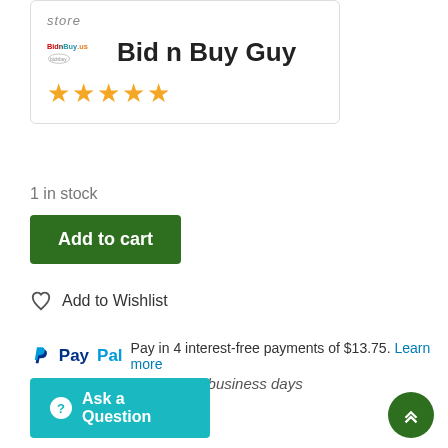[Figure (other): Store card with Bid n Buy Guy logo and 5-star rating]
1 in stock
Add to cart
Add to Wishlist
Pay in 4 interest-free payments of $13.75. Learn more
Item will be shipped in 1-2 business days
Ask a Question